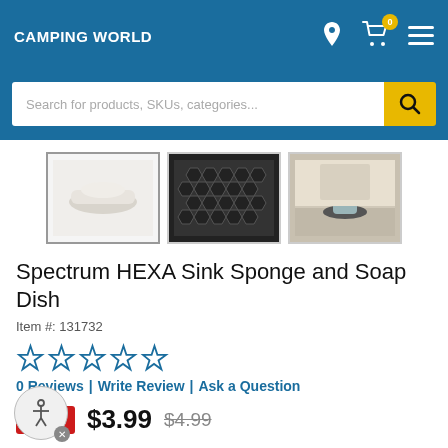CAMPING WORLD
[Figure (screenshot): Product thumbnail images of Spectrum HEXA Sink Sponge and Soap Dish - three thumbnails showing a white soap dish, close-up of hexagonal texture, and a lifestyle shot]
Spectrum HEXA Sink Sponge and Soap Dish
Item #: 131732
[Figure (other): Five-star rating display showing empty/outline stars (0 out of 5)]
0 Reviews | Write Review | Ask a Question
Sale $3.99 $4.99